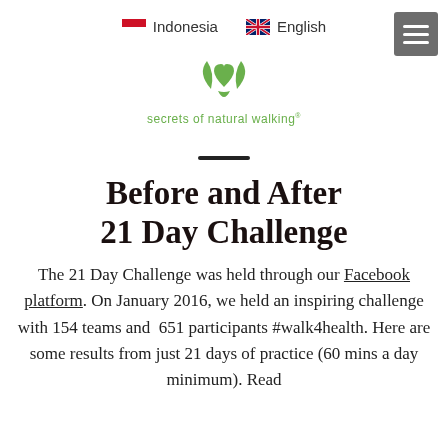Indonesia   English
[Figure (logo): Secrets of Natural Walking logo — green heart with leaf motifs above the text 'secrets of natural walking']
Before and After 21 Day Challenge
The 21 Day Challenge was held through our Facebook platform. On January 2016, we held an inspiring challenge with 154 teams and  651 participants #walk4health. Here are some results from just 21 days of practice (60 mins a day minimum). Read